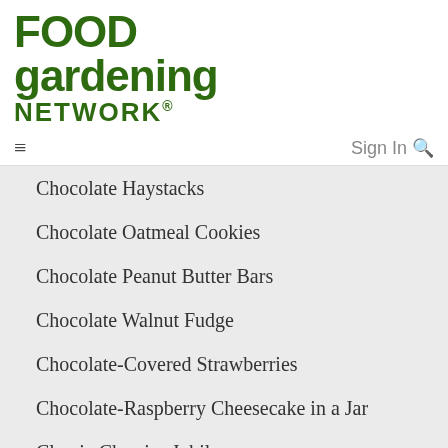[Figure (logo): Food Gardening Network logo in dark green bold serif/impact font]
≡  Sign In 🔍
Chocolate Haystacks
Chocolate Oatmeal Cookies
Chocolate Peanut Butter Bars
Chocolate Walnut Fudge
Chocolate-Covered Strawberries
Chocolate-Raspberry Cheesecake in a Jar
Classic Cherries Jubilee
Confetti Cereal Bars
Confetti Party Puppy Chow
Cookie Dough Brownie Bites